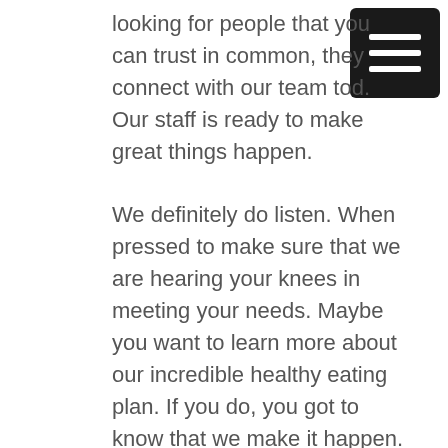looking for people that you can trust in common, they connect with our team tod. Our staff is ready to make great things happen.

We definitely do listen. When pressed to make sure that we are hearing your knees in meeting your needs. Maybe you want to learn more about our incredible healthy eating plan. If you do, you got to know that we make it happen. We are ready to serve you and provide you with excellent service and results. Would you know that we go over and above make great things happen? We’re committed to leaning down a path to great success. So let us help you reach your goal
[Figure (other): Hamburger menu icon — black square with three white horizontal bars]